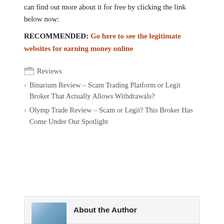can find out more about it for free by clicking the link below now:
RECOMMENDED: Go here to see the legitimate websites for earning money online
Reviews
Binarium Review – Scam Trading Platform or Legit Broker That Actually Allows Withdrawals?
Olymp Trade Review – Scam or Legit? This Broker Has Come Under Our Spotlight
About the Author